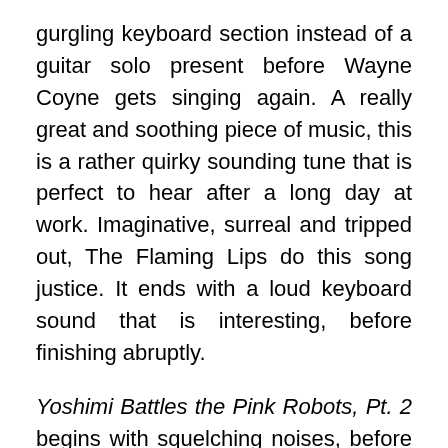gurgling keyboard section instead of a guitar solo present before Wayne Coyne gets singing again. A really great and soothing piece of music, this is a rather quirky sounding tune that is perfect to hear after a long day at work. Imaginative, surreal and tripped out, The Flaming Lips do this song justice. It ends with a loud keyboard sound that is interesting, before finishing abruptly.
Yoshimi Battles the Pink Robots, Pt. 2 begins with squelching noises, before some loud and powerful drumbeats enter. This is very unusual, but intelligently so. The mix of sounds, textures and noise present in this piece is definitely unusual. No singing is present, just a very interesting piece of music that gives a nod of appreciation to The Chemical Brothers. Awesome listening, even for an instrumental. There is a loud and